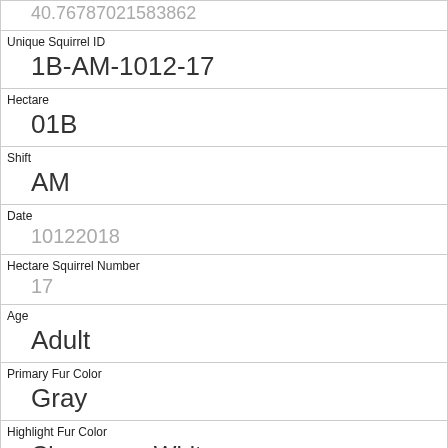40.76787021583862
Unique Squirrel ID
1B-AM-1012-17
Hectare
01B
Shift
AM
Date
10122018
Hectare Squirrel Number
17
Age
Adult
Primary Fur Color
Gray
Highlight Fur Color
Cinnamon, White
Combination of Primary and Highlight Color
Gray+Cinnamon, White
Color notes